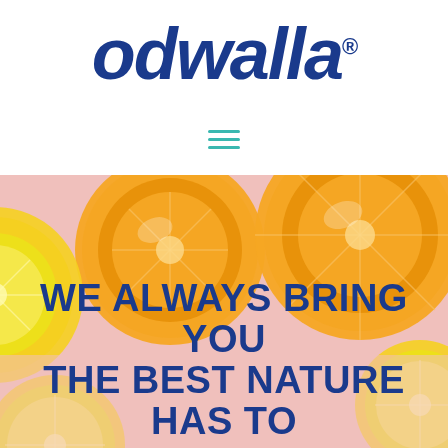[Figure (logo): Odwalla brand logo in bold dark blue italic text with registered trademark symbol]
[Figure (illustration): Hamburger menu icon with three teal horizontal lines]
[Figure (photo): Overhead photo of sliced citrus fruits (oranges and lemons) on a pink background]
WE ALWAYS BRING YOU THE BEST NATURE HAS TO